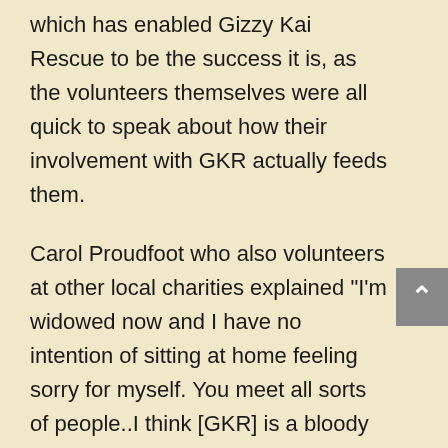which has enabled Gizzy Kai Rescue to be the success it is, as the volunteers themselves were all quick to speak about how their involvement with GKR actually feeds them.
Carol Proudfoot who also volunteers at other local charities explained "I'm widowed now and I have no intention of sitting at home feeling sorry for myself. You meet all sorts of people..I think [GKR] is a bloody good thing and there must be a hang of a lot of people out there who need this."
Anne on the other hand, had gone out and got a casual paid job when she returned to Gisborne from Tauranga but